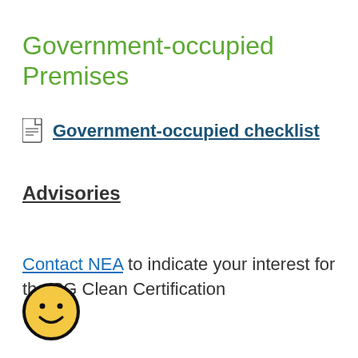Government-occupied Premises
Government-occupied checklist
Advisories
Contact NEA to indicate your interest for the SG Clean Certification
[Figure (illustration): Yellow smiley face emoji with black circular border on white background]